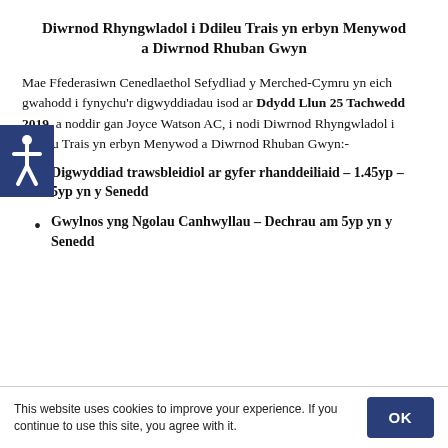Diwrnod Rhyngwladol i Ddileu Trais yn erbyn Menywod a Diwrnod Rhuban Gwyn
Mae Ffederasiwn Cenedlaethol Sefydliad y Merched-Cymru yn eich gwahodd i fynychu’r digwyddiadau isod ar Ddydd Llun 25 Tachwedd 2019, a noddir gan Joyce Watson AC, i nodi Diwrnod Rhyngwladol i Ddileu Trais yn erbyn Menywod a Diwrnod Rhuban Gwyn:-
Digwyddiad trawsbleidiol ar gyfer rhanddeiliaid – 1.45yp – 5yp yn y Senedd
Gwylnos yng Ngolau Canhwyllau – Dechrau am 5yp yn y Senedd
This website uses cookies to improve your experience. If you continue to use this site, you agree with it.